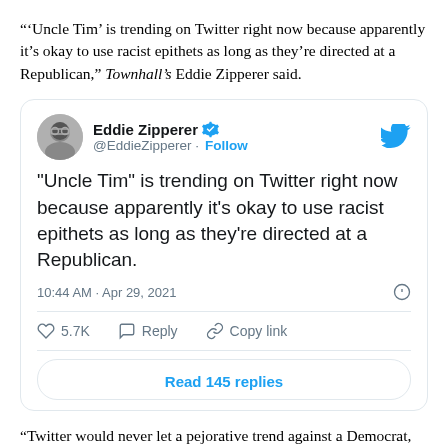“‘Uncle Tim’ is trending on Twitter right now because apparently it’s okay to use racist epithets as long as they’re directed at a Republican,” Townhall’s Eddie Zipperer said.
[Figure (screenshot): Embedded tweet from @EddieZipperer: '"Uncle Tim" is trending on Twitter right now because apparently it's okay to use racist epithets as long as they're directed at a Republican.' 10:44 AM · Apr 29, 2021. 5.7K likes. Read 145 replies.]
“Twitter would never let a pejorative trend against a Democrat,